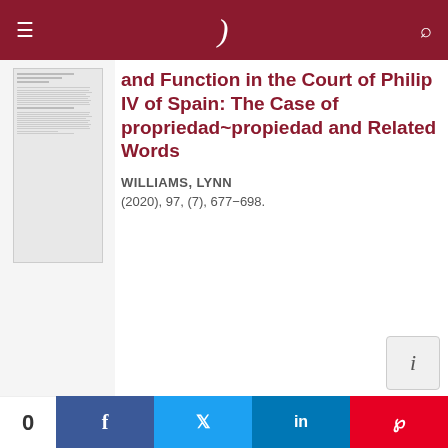Navigation bar with menu, logo, and search
and Function in the Court of Philip IV of Spain: The Case of propriedad~propiedad and Related Words
WILLIAMS, LYNN
(2020), 97, (7), 677−698.
Foreign Language-English Dictionaries (Book Review)
BROWN, REGINALD F.
0 | Share on Facebook | Share on Twitter | Share on LinkedIn | Share on Pinterest